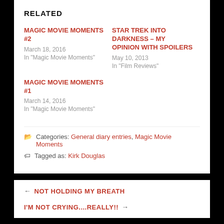RELATED
MAGIC MOVIE MOMENTS #2
March 18, 2016
In "Magic Movie Moments"
STAR TREK INTO DARKNESS – MY OPINION WITH SPOILERS
May 10, 2013
In "Film Reviews"
MAGIC MOVIE MOMENTS #1
March 14, 2016
In "Magic Movie Moments"
Categories: General diary entries, Magic Movie Moments
Tagged as: Kirk Douglas
← NOT HOLDING MY BREATH
I'M NOT CRYING....REALLY!! →